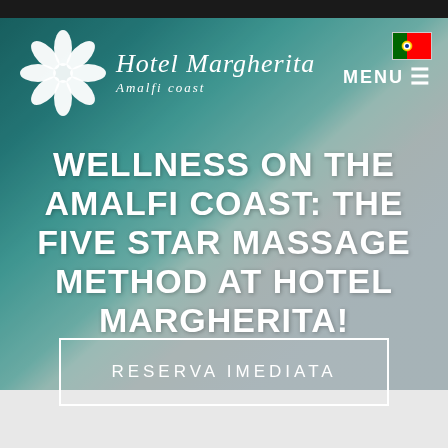[Figure (screenshot): Hotel Margherita Amalfi Coast website screenshot showing a hero section with teal/teal-gradient background overlaid on a spa massage room photo. Contains hotel logo (white daisy flower), hotel name in italic script, Portuguese flag icon, MENU button, large title text, and a CTA button.]
Hotel Margherita Amalfi coast
WELLNESS ON THE AMALFI COAST: THE FIVE STAR MASSAGE METHOD AT HOTEL MARGHERITA!
RESERVA IMEDIATA